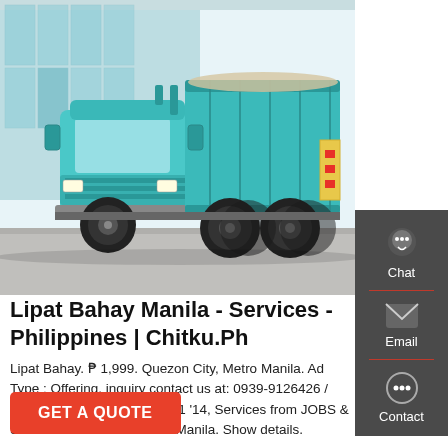[Figure (photo): A teal/cyan heavy-duty dump truck parked in front of a glass building, viewed from a slight angle on the left side]
Lipat Bahay Manila - Services - Philippines | Chitku.Ph
Lipat Bahay. ₱ 1,999. Quezon City, Metro Manila. Ad Type : Offering. inquiry contact us at: 0939-9126426 / 0925-5264424 September 11 '14, Services from JOBS & SERVICES in NCR - Metro Manila. Show details.
GET A QUOTE